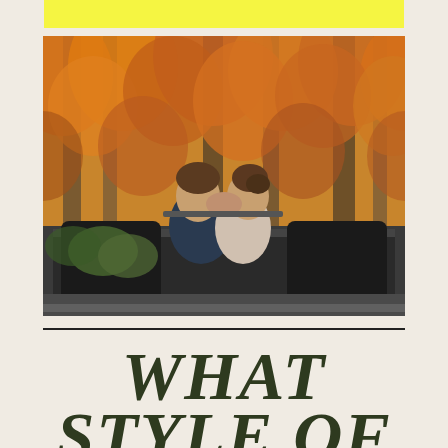[Figure (photo): A couple kissing in the back seat of a vintage convertible car, surrounded by autumn trees with orange and red foliage.]
WHAT STYLE OF